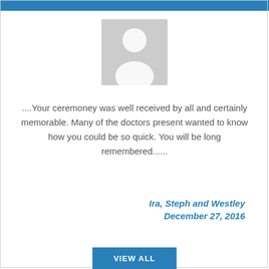[Figure (illustration): Gray placeholder avatar/silhouette of a person in a rectangular frame]
....Your ceremoney was well received by all and certainly memorable. Many of the doctors present wanted to know how you could be so quick. You will be long remembered......
Ira, Steph and Westley
December 27, 2016
VIEW ALL